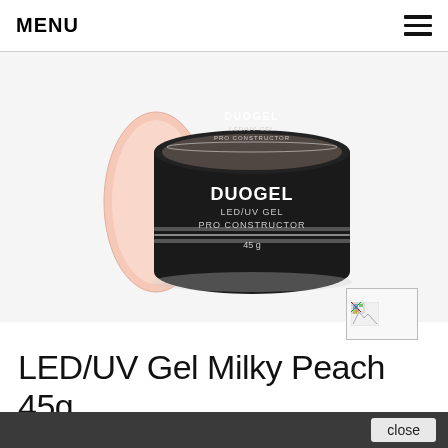MENU
[Figure (photo): A DUOGEL LED/UV Gel Pro Constructor product jar in black with a milky peach color swatch shown on the side. The jar label reads: DUOGEL, LED/UV GEL, PRO CONSTRUCTOR, 45g.]
[Figure (photo): Small thumbnail image preview of the product, partially visible with a broken image icon.]
LED/UV Gel Milky Peach 45g
Reference: DUOGEL 0492